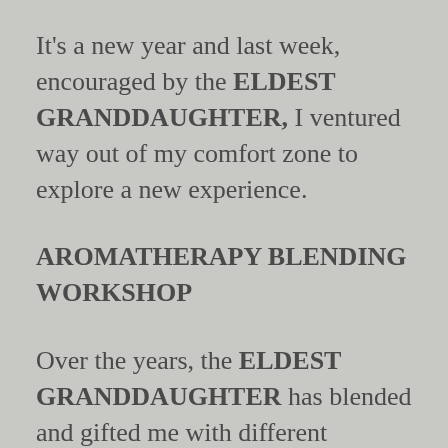It's a new year and last week, encouraged by the ELDEST GRANDDAUGHTER, I ventured way out of my comfort zone to explore a new experience.
AROMATHERAPY BLENDING WORKSHOP
Over the years, the ELDEST GRANDDAUGHTER has blended and gifted me with different essential